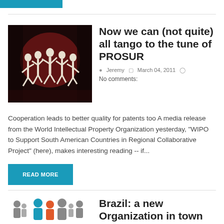[Figure (other): Blue bar stub at top of page]
[Figure (photo): Tango dancers in white costumes on a dark stage with red lighting]
Now we can (not quite) all tango to the tune of PROSUR
Jeremy  March 04, 2011  No comments:
Cooperation leads to better quality for patents too A media release from the World Intellectual Property Organization yesterday, "WIPO to Support South American Countries in Regional Collaborative Project" (here), makes interesting reading -- if...
READ MORE
[Figure (illustration): Silhouette illustration of group of people figures in grey, blue, and red colors]
Brazil: a new Organization in town